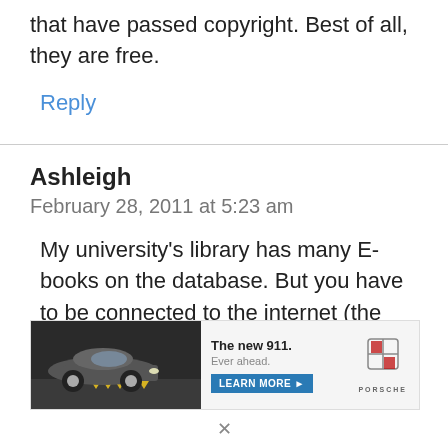that have passed copyright. Best of all, they are free.
Reply
Ashleigh
February 28, 2011 at 5:23 am
My university's library has many E-books on the database. But you have to be connected to the internet (the library's database) to
[Figure (photo): Porsche advertisement banner showing a new 911 car with the text 'The new 911. Ever ahead.' and a LEARN MORE button and Porsche logo.]